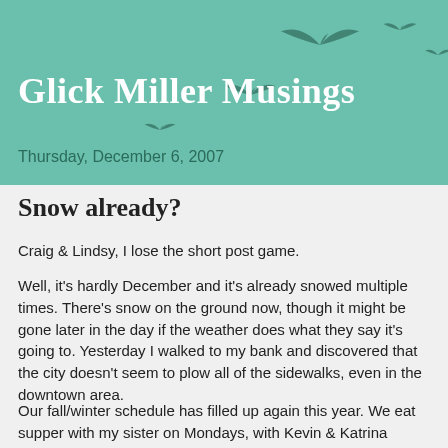Glick Miller Musings
Thursday, December 6, 2007
Snow already?
Craig & Lindsy, I lose the short post game.
Well, it's hardly December and it's already snowed multiple times. There's snow on the ground now, though it might be gone later in the day if the weather does what they say it's going to. Yesterday I walked to my bank and discovered that the city doesn't seem to plow all of the sidewalks, even in the downtown area.
Our fall/winter schedule has filled up again this year. We eat supper with my sister on Mondays, with Kevin & Katrina Graber on Tuesdays, small group on Wednesdays, and then I play in a co-ed volleyball league on Thursdays and in a